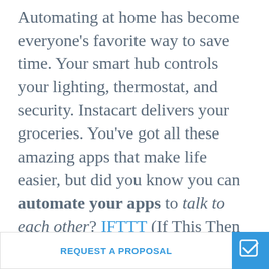Automating at home has become everyone's favorite way to save time. Your smart hub controls your lighting, thermostat, and security. Instacart delivers your groceries. You've got all these amazing apps that make life easier, but did you know you can automate your apps to talk to each other? IFTTT (If This Then That, in layman's terms) supercharges your favorite apps by linking the...
REQUEST A PROPOSAL